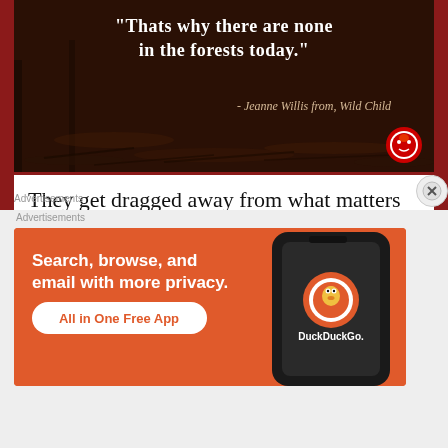[Figure (photo): Dark forest floor background image with white bold quote text reading 'Thats why there are none in the forests today.' and cursive attribution text '- Jeanne Willis from, Wild Child' with a Reddit icon in bottom right]
They get dragged away from what matters most ... because other things suddenly matter more. But maybe the kids had it right ... and others had it wrong.
Advertisements
Advertisements
[Figure (screenshot): DuckDuckGo advertisement banner with orange background. Text reads: 'Search, browse, and email with more privacy. All in One Free App' with a phone mockup showing DuckDuckGo logo on right side.]